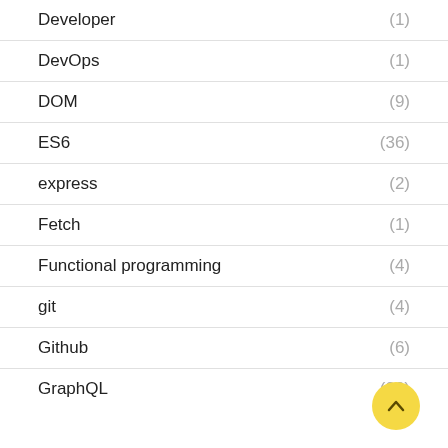Developer (1)
DevOps (1)
DOM (9)
ES6 (36)
express (2)
Fetch (1)
Functional programming (4)
git (4)
Github (6)
GraphQL (22)